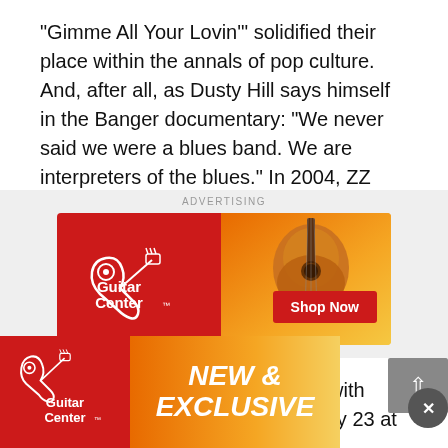"Gimme All Your Lovin'" solidified their place within the annals of pop culture. And, after all, as Dusty Hill says himself in the Banger documentary: "We never said we were a blues band. We are interpreters of the blues." In 2004, ZZ Top was inducted into the Rock & Roll Hall of Fame by Keith Richards of the Rolling Stones.
[Figure (illustration): Guitar Center advertisement banner with red left panel showing Guitar Center logo with white guitar icon, and orange/gradient right panel showing an acoustic guitar and a red 'Shop Now' button.]
It appears the band will carry on with longtime guitar tech Elwood... July 23 at t... en Dusty...
[Figure (illustration): Overlay Guitar Center banner with red left panel showing Guitar Center logo, and orange gradient right panel with bold italic white text reading 'NEW & EXCLUSIVE'.]